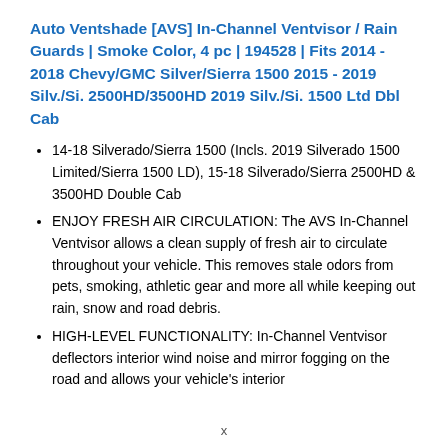Auto Ventshade [AVS] In-Channel Ventvisor / Rain Guards | Smoke Color, 4 pc | 194528 | Fits 2014 - 2018 Chevy/GMC Silver/Sierra 1500 2015 - 2019 Silv./Si. 2500HD/3500HD 2019 Silv./Si. 1500 Ltd Dbl Cab
14-18 Silverado/Sierra 1500 (Incls. 2019 Silverado 1500 Limited/Sierra 1500 LD), 15-18 Silverado/Sierra 2500HD & 3500HD Double Cab
ENJOY FRESH AIR CIRCULATION: The AVS In-Channel Ventvisor allows a clean supply of fresh air to circulate throughout your vehicle. This removes stale odors from pets, smoking, athletic gear and more all while keeping out rain, snow and road debris.
HIGH-LEVEL FUNCTIONALITY: In-Channel Ventvisor deflectors interior wind noise and mirror fogging on the road and allows your vehicle's interior